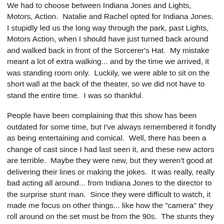We had to choose between Indiana Jones and Lights, Motors, Action.  Natalie and Rachel opted for Indiana Jones.  I stupidly led us the long way through the park, past Lights, Motors Action, when I should have just turned back around and walked back in front of the Sorcerer's Hat.  My mistake meant a lot of extra walking... and by the time we arrived, it was standing room only.  Luckily, we were able to sit on the short wall at the back of the theater, so we did not have to stand the entire time.  I was so thankful.
People have been complaining that this show has been outdated for some time, but I've always remembered it fondly as being entertaining and comical.  Well, there has been a change of cast since I had last seen it, and these new actors are terrible.  Maybe they were new, but they weren't good at delivering their lines or making the jokes.  It was really, really bad acting all around... from Indiana Jones to the director to the surprise stunt man.  Since they were difficult to watch, it made me focus on other things... like how the "camera" they roll around on the set must be from the 90s.  The stunts they are doing are probably really outdated in terms of technology.  Is any of this even relevant, anymore?